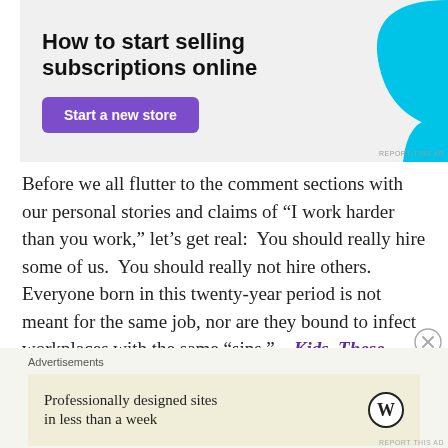[Figure (screenshot): Advertisement banner with gray background. Headline: 'How to start selling subscriptions online'. Purple button labeled 'Start a new store'. Cyan/blue decorative shape on the right side.]
Before we all flutter to the comment sections with our personal stories and claims of “I work harder than you work,” let’s get real: You should really hire some of us. You should really not hire others. Everyone born in this twenty-year period is not meant for the same job, nor are they bound to infect workplaces with the same “sins.” – Kids. These. Days.
[Figure (screenshot): Bottom advertisement area. Label 'Advertisements'. Ad box with beige background reads 'Professionally designed sites in less than a week' with WordPress logo on the right.]